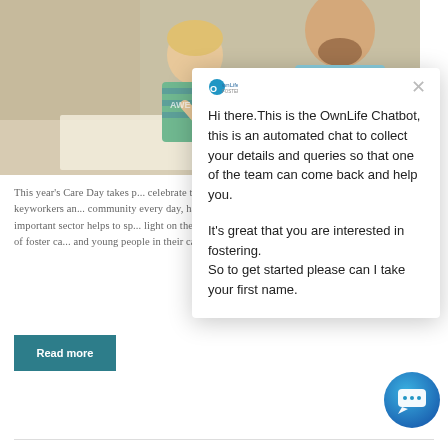[Figure (photo): Photo of a child and adult sitting at a table, child holding a pencil over paper, adult (with beard, wearing light blue shirt) visible in background]
This year's Care Day takes p... celebrate the keyworkers an... community every day, havin... important sector helps to sp... light on the work of foster ca... and young people in their ca...
Read more
[Figure (screenshot): OwnLife Fostering chatbot popup with message: Hi there.This is the OwnLife Chatbot, this is an automated chat to collect your details and queries so that one of the team can come back and help you.

It's great that you are interested in fostering.
So to get started please can I take your first name.]
[Figure (other): Blue circular chat button (FAB) in bottom right corner with chat icon]